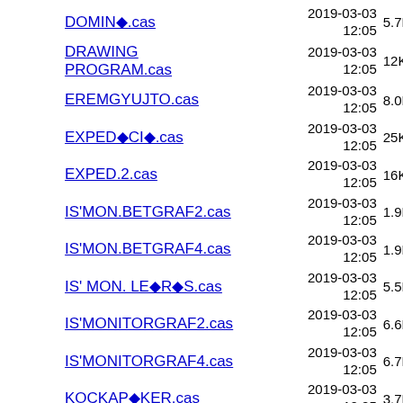DOMIN◆.cas  2019-03-03 12:05  5.7K
DRAWING PROGRAM.cas  2019-03-03 12:05  12K
EREMGYUJTO.cas  2019-03-03 12:05  8.0K
EXPED◆CI◆.cas  2019-03-03 12:05  25K
EXPED.2.cas  2019-03-03 12:05  16K
IS'MON.BETGRAF2.cas  2019-03-03 12:05  1.9K
IS'MON.BETGRAF4.cas  2019-03-03 12:05  1.9K
IS' MON. LE◆R◆S.cas  2019-03-03 12:05  5.5K
IS'MONITORGRAF2.cas  2019-03-03 12:05  6.6K
IS'MONITORGRAF4.cas  2019-03-03 12:05  6.7K
KOCKAP◆KER.cas  2019-03-03 12:05  3.7K